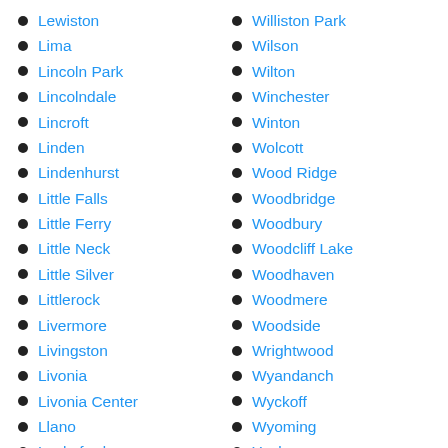Lewiston
Lima
Lincoln Park
Lincolndale
Lincroft
Linden
Lindenhurst
Little Falls
Little Ferry
Little Neck
Little Silver
Littlerock
Livermore
Livingston
Livonia
Livonia Center
Llano
Lockeford
Lockport
Williston Park
Wilson
Wilton
Winchester
Winton
Wolcott
Wood Ridge
Woodbridge
Woodbury
Woodcliff Lake
Woodhaven
Woodmere
Woodside
Wrightwood
Wyandanch
Wyckoff
Wyoming
Yonkers
Yorba Linda